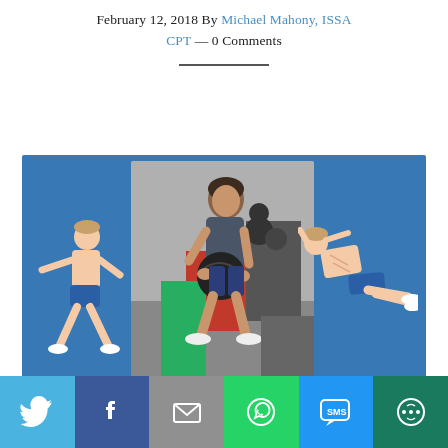February 12, 2018 By Michael Mahony, ISSA CPT — 0 Comments
[Figure (photo): Featured blog post image with blue background showing a woman squatting with a medicine ball in a gym (center photo), an illustrated man doing a squat on the left, and an illustrated man doing crunches on the right. Text overlay reads 'Monday Madness: Squatting Daily'.]
[Figure (infographic): Social media share bar with six buttons: Twitter (light blue), Facebook (dark blue), Email/Mail (gray), WhatsApp (green), SMS (blue), and More (dark green)]